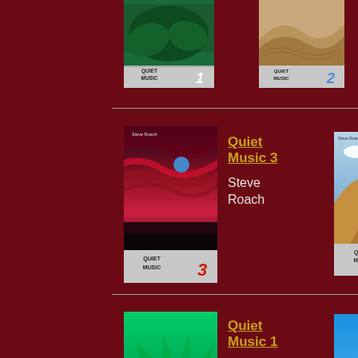[Figure (photo): Partial album cover for Quiet Music 1 by Steve Roach, top-left]
[Figure (photo): Partial album cover for Quiet Music 2 by Steve Roach, top-right]
[Figure (photo): Album cover for Quiet Music 3 by Steve Roach, row 2 left]
Quiet Music 3
Steve Roach
[Figure (photo): Album cover for Quiet Music (box set) by Steve Roach, row 2 right]
Quiet Music
Steve Roach
[Figure (photo): Album cover for Quiet Music 1 by Steve Roach, row 3 left]
Quiet Music 1
Steve Roach
[Figure (photo): Album cover for Quiet Music 2 by Steve Roach, row 3 right]
Quiet Music 2
Steve Roach